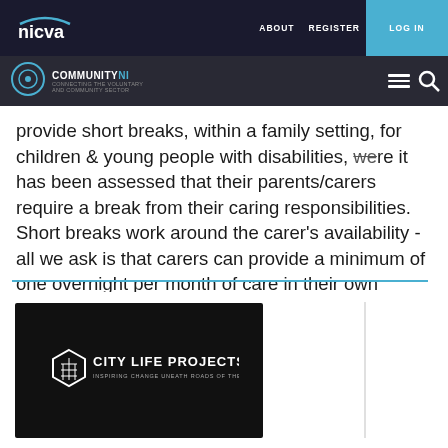NICVA | ABOUT  REGISTER  LOG IN
COMMUNITYNI
provide short breaks, within a family setting, for children & young people with disabilities, where it has been assessed that their parents/carers require a break from their caring responsibilities. Short breaks work around the carer's availability - all we ask is that carers can provide a minimum of one overnight per month of care in their own home.
[Figure (logo): City Life Projects logo on black background with hexagonal building icon]